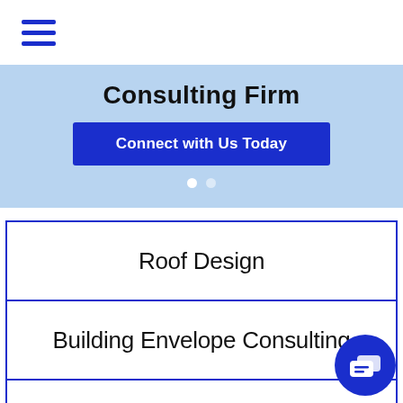[Figure (other): Hamburger menu icon with three horizontal blue lines]
Consulting Firm
Connect with Us Today
Roof Design
Building Envelope Consulting
Construction Waterproofing
[Figure (other): Chat bubble / messaging icon in white on blue circle background]